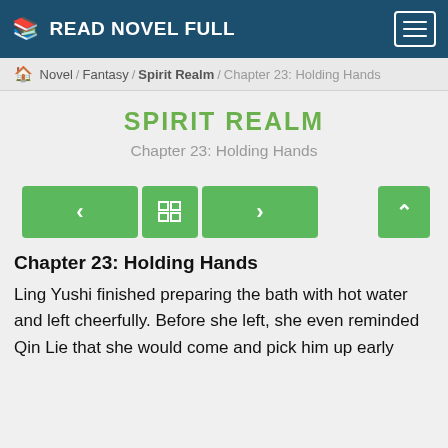READ NOVEL FULL
Novel / Fantasy / Spirit Realm / Chapter 23: Holding Hands
SPIRIT REALM
Chapter 23: Holding Hands
Chapter 23: Holding Hands
Ling Yushi finished preparing the bath with hot water and left cheerfully. Before she left, she even reminded Qin Lie that she would come and pick him up early